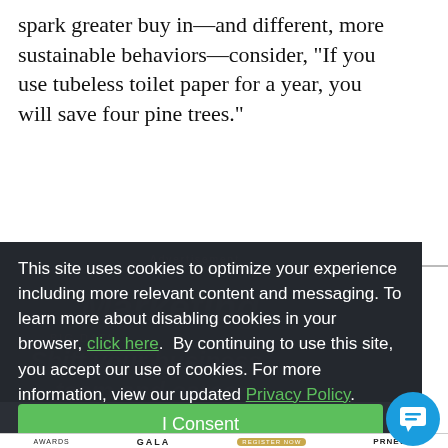spark greater buy in—and different, more sustainable behaviors—consider, "If you use tubeless toilet paper for a year, you will save four pine trees."
[Figure (screenshot): Cookie consent overlay on a dark background with advertisement content partially visible behind. Contains cookie notice text, links to click here and Privacy Policy, and a green I Consent button.]
AWARDS GALA  REGISTER NOW  PRNEWS